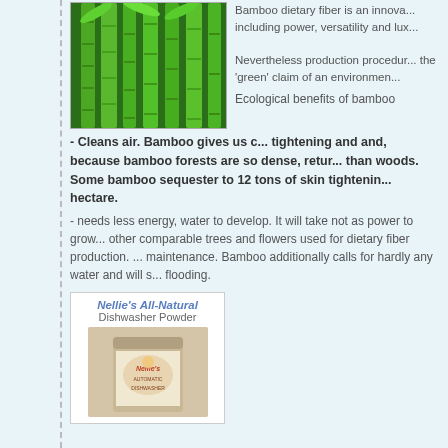[Figure (photo): Photo of green bamboo stalks and leaves]
Bamboo dietary fiber is an innova... including power, versatility and lux...
Nevertheless production procedur... the 'green' claim of an environmen...
Ecological benefits of bamboo
- Cleans air. Bamboo gives us c... tightening and and, because bamboo forests are so dense, retur... than woods. Some bamboo sequester to 12 tons of skin tightenin... hectare.
- needs less energy, water to develop. It will take not as power to grow... other comparable trees and flowers used for dietary fiber production. ... maintenance. Bamboo additionally calls for hardly any water and will s... flooding.
[Figure (photo): Product image of Nellie's All-Natural Dishwasher Powder tin]